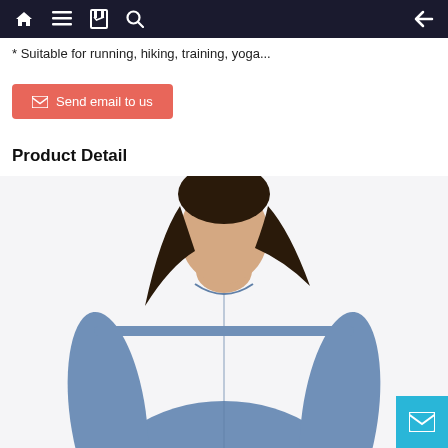Navigation bar with home, menu, bookmarks, search icons and back arrow
* Suitable for running, hiking, training, yoga...
Send email to us
Product Detail
[Figure (photo): A woman wearing a blue-grey long-sleeve lightweight hoodie top, shown from shoulders up, with dark hair down.]